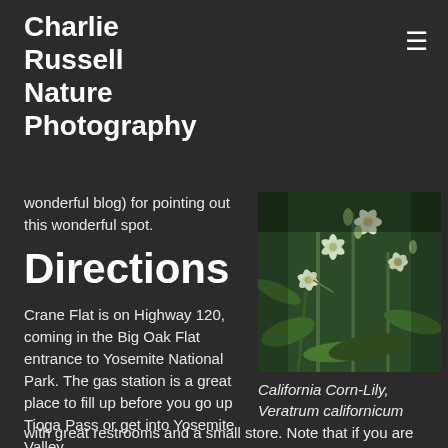Charlie Russell Nature Photography
wonderful blog) for pointing out this wonderful spot.
Directions
Crane Flat is on Highway 120, coming in the Big Oak Flat entrance to Yosemite National Park. The gas station is a great place to fill up before you go up Tioga Pass or get into Yosemite Valley, with great restrooms and a small store. Note that if you are heading towards Yosemite Valley the store is a bit off the main road – it is a very short way up on the Tioga Pass road. If you have time to stay in the area there are
[Figure (photo): Close-up photograph of California Corn-Lily (Veratrum californicum) showing white star-shaped flowers with green foliage and buds against a dark green background.]
California Corn-Lily, Veratrum californicum